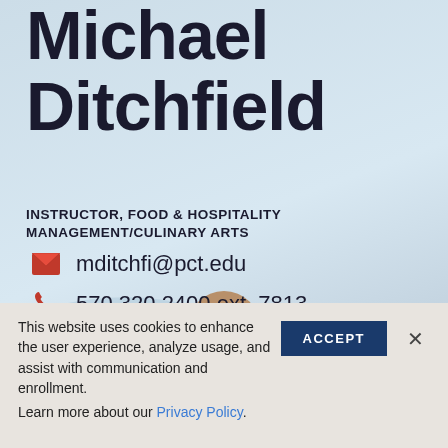Michael Ditchfield
INSTRUCTOR, FOOD & HOSPITALITY MANAGEMENT/CULINARY ARTS
mditchfi@pct.edu
570.320.2400 ext. 7813
LEC, Rm.B2104
This website uses cookies to enhance the user experience, analyze usage, and assist with communication and enrollment.
Learn more about our Privacy Policy.